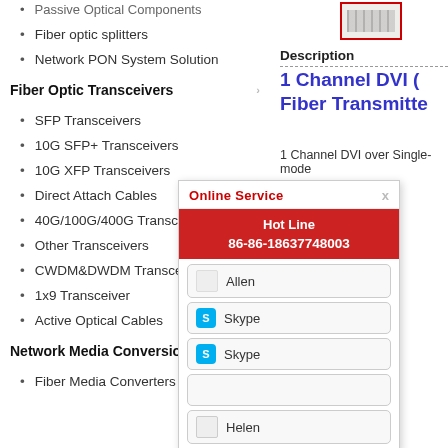Passive Optical Components
Fiber optic splitters
Network PON System Solution
Fiber Optic Transceivers
SFP Transceivers
10G SFP+ Transceivers
10G XFP Transceivers
Direct Attach Cables
40G/100G/400G Transceivers
Other Transceivers
CWDM&DWDM Transceivers
1x9 Transceiver
Active Optical Cables
Network Media Conversion
Fiber Media Converters
Description
1 Channel DVI (... Fiber Transmitte...
1 Channel DVI over Single-mode
Description
The DVI vide... it
without comp... d
It is ideal for D... a
medical imagi... n
And DVI Fibe... s
Features
[Figure (screenshot): Online Service popup with hot line 86-86-18637748003, contact buttons for Allen, Skype, Skype, Helen]